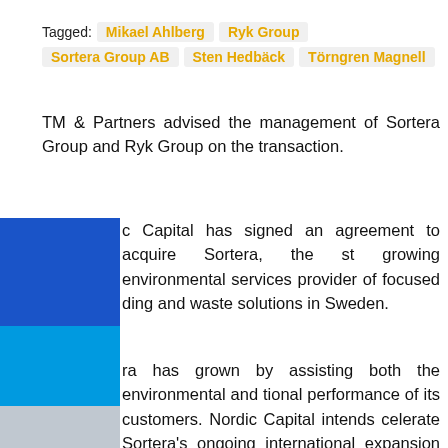Tagged: Mikael Ahlberg   Ryk Group   Sortera Group AB   Sten Hedbäck   Törngren Magnell
TM & Partners advised the management of Sortera Group and Ryk Group on the transaction.
c Capital has signed an agreement to acquire Sortera, the st growing environmental services provider of focused ding and waste solutions in Sweden.
ra has grown by assisting both the environmental and tional performance of its customers. Nordic Capital intends celerate Sortera's ongoing international expansion and further gthen its sustainable service offering.
ra is a fast-growing Nordic environmental contractor within collection, recycling, processing and broking of residual products from the building and construction sector. Sortera operates primarily within the B2B SME segment in Sweden and Finland through its three business areas: Recycling (RMI construction recycling services), Materials (End-to-end environmental solutions